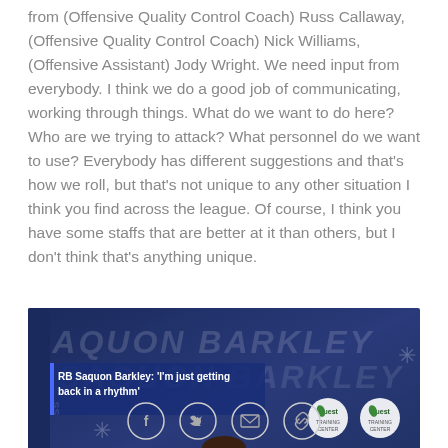from (Offensive Quality Control Coach) Russ Callaway, (Offensive Quality Control Coach) Nick Williams, (Offensive Assistant) Jody Wright. We need input from everybody. I think we do a good job of communicating, working through things. What do we want to do here? Who are we trying to attack? What personnel do we want to use? Everybody has different suggestions and that's how we roll, but that's not unique to any other situation I think you find across the league. Of course, I think you have some staffs that are better at it than others, but I don't think that's anything unique.
[Figure (screenshot): Video thumbnail of RB Saquon Barkley press conference with lower-third caption reading: RB Saquon Barkley: 'I'm just getting back in a rhythm'. Background shows sponsor logos including Quest and Indian Health. A person is visible in the foreground.]
Social share buttons: Facebook, Twitter, Email, Link